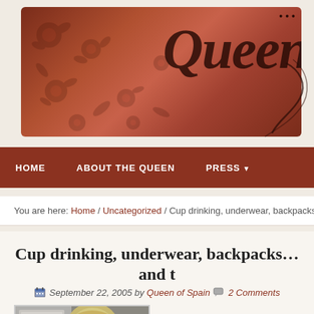[Figure (illustration): Blog header banner with dark red/brown textured floral background and cursive 'Queen' script text in dark brown]
HOME   ABOUT THE QUEEN   PRESS ▼
You are here: Home / Uncategorized / Cup drinking, underwear, backpacks...
Cup drinking, underwear, backpacks…and t
September 22, 2005 by Queen of Spain  2 Comments
[Figure (photo): Photo of a blonde child, partially cropped]